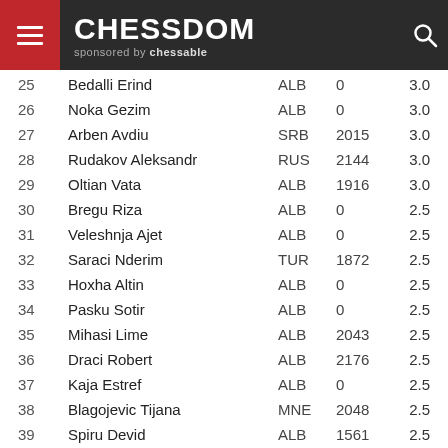CHESSDOM sponsored by chessable
| # | Name | Fed | Elo | Pts |
| --- | --- | --- | --- | --- |
| 25 | Bedalli Erind | ALB | 0 | 3.0 |
| 26 | Noka Gezim | ALB | 0 | 3.0 |
| 27 | Arben Avdiu | SRB | 2015 | 3.0 |
| 28 | Rudakov Aleksandr | RUS | 2144 | 3.0 |
| 29 | Oltian Vata | ALB | 1916 | 3.0 |
| 30 | Bregu Riza | ALB | 0 | 2.5 |
| 31 | Veleshnja Ajet | ALB | 0 | 2.5 |
| 32 | Saraci Nderim | TUR | 1872 | 2.5 |
| 33 | Hoxha Altin | ALB | 0 | 2.5 |
| 34 | Pasku Sotir | ALB | 0 | 2.5 |
| 35 | Mihasi Lime | ALB | 2043 | 2.5 |
| 36 | Draci Robert | ALB | 2176 | 2.5 |
| 37 | Kaja Estref | ALB | 0 | 2.5 |
| 38 | Blagojevic Tijana | MNE | 2048 | 2.5 |
| 39 | Spiru Devid | ALB | 1561 | 2.5 |